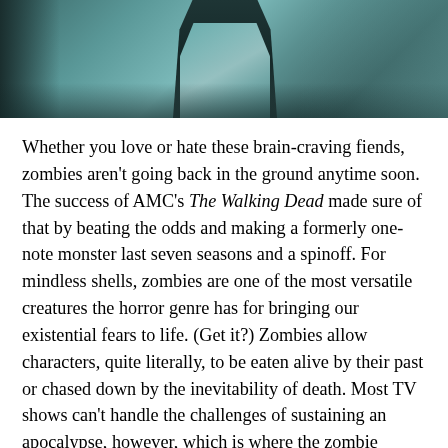[Figure (photo): A partially cropped photo showing a figure in a blue-tinted jacket or coat, set against a blurred outdoor background with muted teal and dark tones, consistent with a scene from a zombie/post-apocalyptic TV show.]
Whether you love or hate these brain-craving fiends, zombies aren't going back in the ground anytime soon. The success of AMC's The Walking Dead made sure of that by beating the odds and making a formerly one-note monster last seven seasons and a spinoff. For mindless shells, zombies are one of the most versatile creatures the horror genre has for bringing our existential fears to life. (Get it?) Zombies allow characters, quite literally, to be eaten alive by their past or chased down by the inevitability of death. Most TV shows can't handle the challenges of sustaining an apocalypse, however, which is where the zombie episode comes in. The zombie episode is focused on the first days of the dead rising and our heroes stopping—often after causing—a zombie